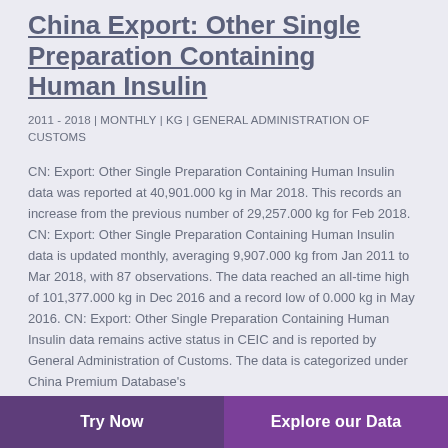China Export: Other Single Preparation Containing Human Insulin
2011 - 2018 | MONTHLY | KG | GENERAL ADMINISTRATION OF CUSTOMS
CN: Export: Other Single Preparation Containing Human Insulin data was reported at 40,901.000 kg in Mar 2018. This records an increase from the previous number of 29,257.000 kg for Feb 2018. CN: Export: Other Single Preparation Containing Human Insulin data is updated monthly, averaging 9,907.000 kg from Jan 2011 to Mar 2018, with 87 observations. The data reached an all-time high of 101,377.000 kg in Dec 2016 and a record low of 0.000 kg in May 2016. CN: Export: Other Single Preparation Containing Human Insulin data remains active status in CEIC and is reported by General Administration of Customs. The data is categorized under China Premium Database's
Try Now | Explore our Data